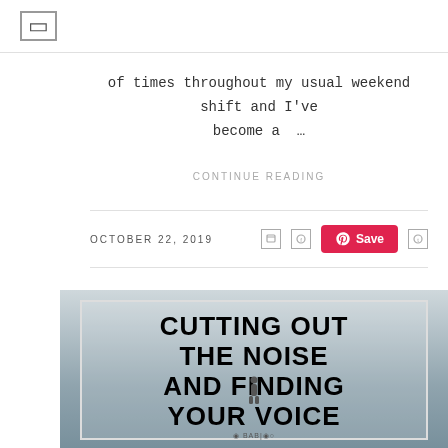☰
of times throughout my usual weekend shift and I've become a …
CONTINUE READING
OCTOBER 22, 2019
[Figure (illustration): Blog post thumbnail image showing bold text 'CUTTING OUT THE NOISE AND FINDING YOUR VOICE' over a misty background with a silhouette figure]
INSPIRATION
MENTAL HEALTH
OFF THE MAT YOGA